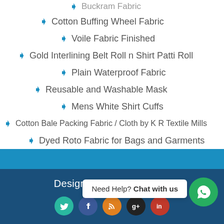Buckram Fabric
Cotton Buffing Wheel Fabric
Voile Fabric Finished
Gold Interlining Belt Roll n Shirt Patti Roll
Plain Waterproof Fabric
Reusable and Washable Mask
Mens White Shirt Cuffs
Cotton Bale Packing Fabric / Cloth by K R Textile Mills
Dyed Roto Fabric for Bags and Garments
Designed by ktextile mills